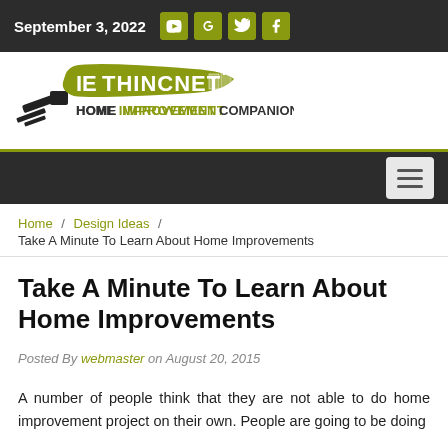September 3, 2022
[Figure (logo): IEThincNet Home Improvement Companion logo with hammer graphic and olive/gold color scheme]
Home / Design Ideas / Take A Minute To Learn About Home Improvements
Take A Minute To Learn About Home Improvements
Posted By webmaster on August 20, 2015
A number of people think that they are not able to do home improvement project on their own. People are going to be doing home improvement on their homes every day.